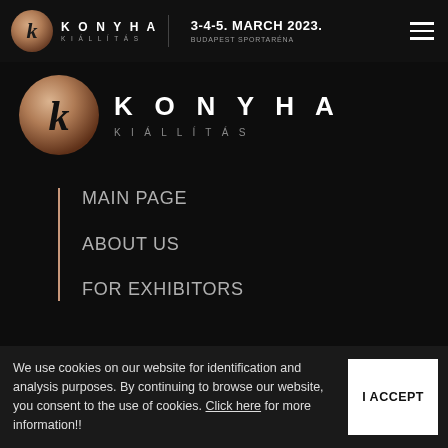KONYHA KIÁLLÍTÁS | 3-4-5. MARCH 2023. BUDAPEST SPORTARÉNA
[Figure (logo): Large Konyha Kiállítás logo with copper circle K emblem and brand name]
MAIN PAGE
ABOUT US
FOR EXHIBITORS
We use cookies on our website for identification and analysis purposes. By continuing to browse our website, you consent to the use of cookies. Click here for more information!!